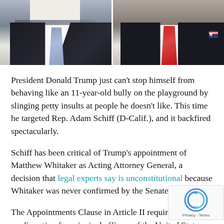[Figure (photo): Two side-by-side photos showing men in dark suits. Left photo shows a man with a blue/gray tie and white shirt. Right photo shows a man with a red tie, white shirt, and small American flag lapel pin.]
President Donald Trump just can't stop himself from behaving like an 11-year-old bully on the playground by slinging petty insults at people he doesn't like. This time he targeted Rep. Adam Schiff (D-Calif.), and it backfired spectacularly.
Schiff has been critical of Trump's appointment of Matthew Whitaker as Acting Attorney General, a decision that legal experts say is unconstitutional because Whitaker was never confirmed by the Senate.
The Appointments Clause in Article II requires Senate confirmation for principal officers of the United States government, which includes the Attorney General.